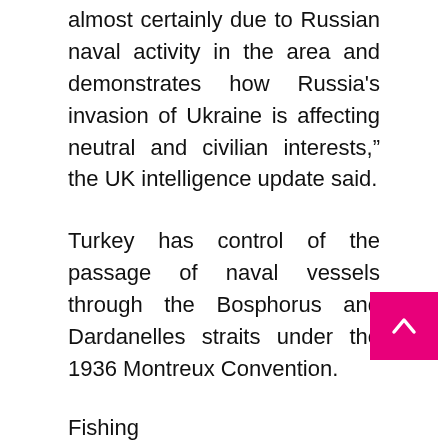almost certainly due to Russian naval activity in the area and demonstrates how Russia's invasion of Ukraine is affecting neutral and civilian interests," the UK intelligence update said.
Turkey has control of the passage of naval vessels through the Bosphorus and Dardanelles straits under the 1936 Montreux Convention.
Fishing
On March 26, Turkey's Ministry of Agriculture and Forestry banned fishing at